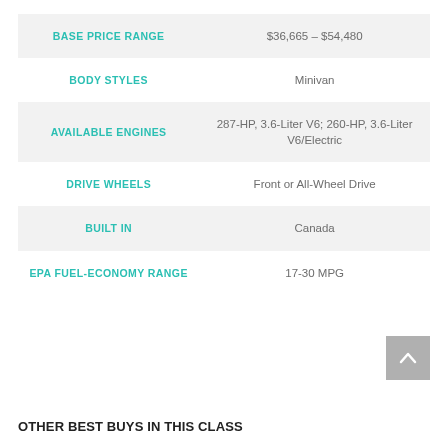|  |  |
| --- | --- |
| BASE PRICE RANGE | $36,665 – $54,480 |
| BODY STYLES | Minivan |
| AVAILABLE ENGINES | 287-HP, 3.6-Liter V6; 260-HP, 3.6-Liter V6/Electric |
| DRIVE WHEELS | Front or All-Wheel Drive |
| BUILT IN | Canada |
| EPA FUEL-ECONOMY RANGE | 17-30 MPG |
OTHER BEST BUYS IN THIS CLASS